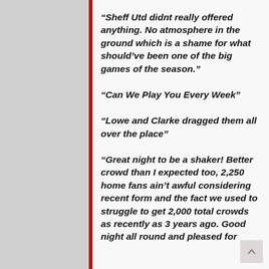“Sheff Utd didnt really offered anything. No atmosphere in the ground which is a shame for what should’ve been one of the big games of the season.”
“Can We Play You Every Week”
“Lowe and Clarke dragged them all over the place”
“Great night to be a shaker! Better crowd than I expected too, 2,250 home fans ain’t awful considering recent form and the fact we used to struggle to get 2,000 total crowds as recently as 3 years ago. Good night all round and pleased for